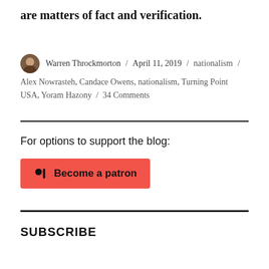are matters of fact and verification.
Warren Throckmorton / April 11, 2019 / nationalism / Alex Nowrasteh, Candace Owens, nationalism, Turning Point USA, Yoram Hazony / 34 Comments
For options to support the blog:
[Figure (other): Patreon 'Become a patron' button with Patreon logo icon on red background]
SUBSCRIBE